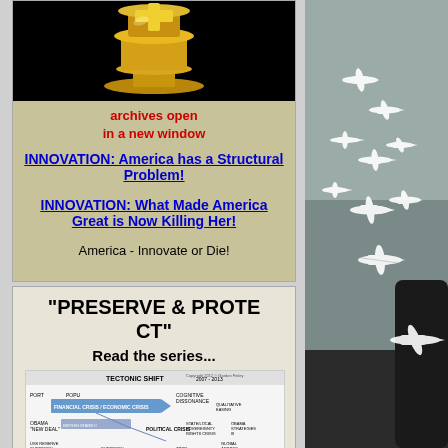[Figure (photo): Gold trophy or award figurine on black background]
archives open
in a new window
INNOVATION: America has a Structural Problem!
INNOVATION: What Made America Great is Now Killing Her!
America - Innovate or Die!
"PRESERVE & PROTECT"
Read the series...
[Figure (infographic): Tectonic Shift 2007-2013 diagram showing financial crisis, economic crisis, political crisis and related elements with arrows]
[Figure (photo): Aerial photo of many white private jets and airplanes parked on an airport tarmac, viewed through an aircraft window]